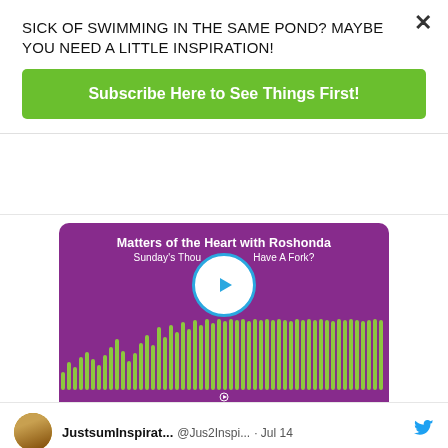SICK OF SWIMMING IN THE SAME POND? MAYBE YOU NEED A LITTLE INSPIRATION!
Subscribe Here to See Things First!
[Figure (screenshot): Buzzsprout podcast player embed with purple background showing 'Matters of the Heart with Roshonda' and episode title 'Sunday's Thou... Have A Fork?' with a blue play button and green audio waveform visualization. CREATED BY BUZZSPROUT label at bottom.]
JustsumInspirat... @Jus2Inspi... · Jul 14